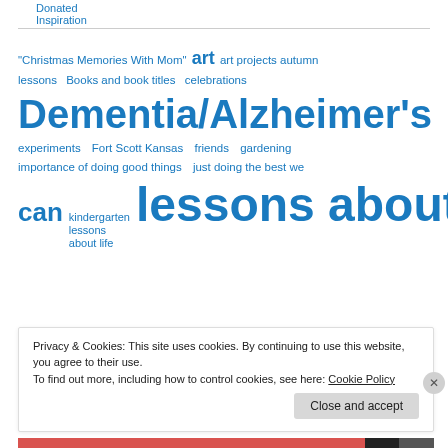Donated Inspiration
"Christmas Memories With Mom"  art  art projects  autumn lessons  Books and book titles  celebrations  Dementia/Alzheimer's  experiments  Fort Scott Kansas  friends  gardening  importance of doing good things  just doing the best we can  kindergarten lessons about life  lessons about
Privacy & Cookies: This site uses cookies. By continuing to use this website, you agree to their use.
To find out more, including how to control cookies, see here: Cookie Policy
Close and accept